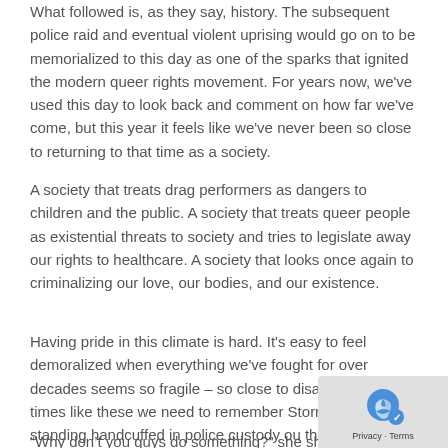What followed is, as they say, history. The subsequent police raid and eventual violent uprising would go on to be memorialized to this day as one of the sparks that ignited the modern queer rights movement. For years now, we've used this day to look back and comment on how far we've come, but this year it feels like we've never been so close to returning to that time as a society.
A society that treats drag performers as dangers to children and the public. A society that treats queer people as existential threats to society and tries to legislate away our rights to healthcare. A society that looks once again to criminalizing our love, our bodies, and our existence.
Having pride in this climate is hard. It's easy to feel demoralized when everything we've fought for over decades seems so fragile – so close to disappearing. It's times like these we need to remember Stormé DeLarverie, standing handcuffed in police custody ou the Stonewall Inn in the early morning all those years
“Why don’t you guys do something?” she shouted at the